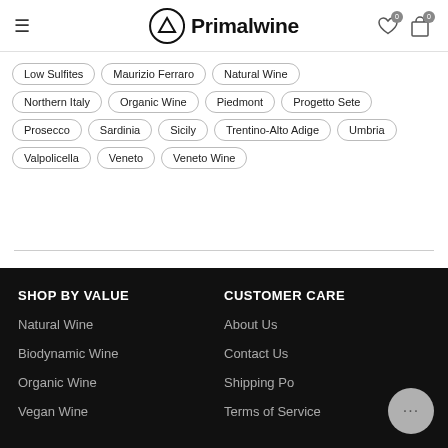Primalwine
Low Sulfites
Maurizio Ferraro
Natural Wine
Northern Italy
Organic Wine
Piedmont
Progetto Sete
Prosecco
Sardinia
Sicily
Trentino-Alto Adige
Umbria
Valpolicella
Veneto
Veneto Wine
SHOP BY VALUE
Natural Wine
Biodynamic Wine
Organic Wine
Vegan Wine
CUSTOMER CARE
About Us
Contact Us
Shipping Policy
Terms of Service